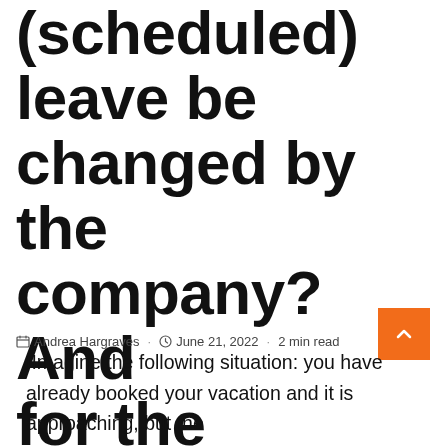(scheduled) leave be changed by the company? And for the worker?
Andrea Hargraves · June 21, 2022 · 2 min read
IImagine the following situation: you have already booked your vacation and it is approaching, but the